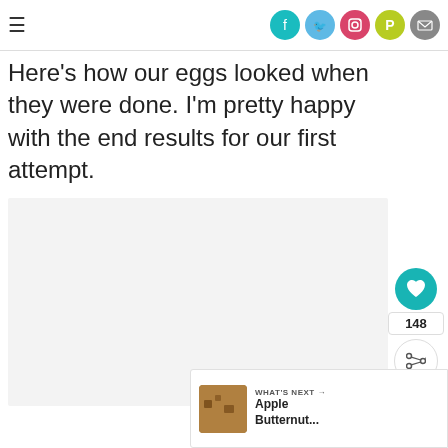≡ [social icons: Facebook, Twitter, Instagram, Pinterest, Email]
Here's how our eggs looked when they were done. I'm pretty happy with the end results for our first attempt.
[Figure (photo): Light gray placeholder image block for an egg photo]
148
WHAT'S NEXT → Apple Butternut...